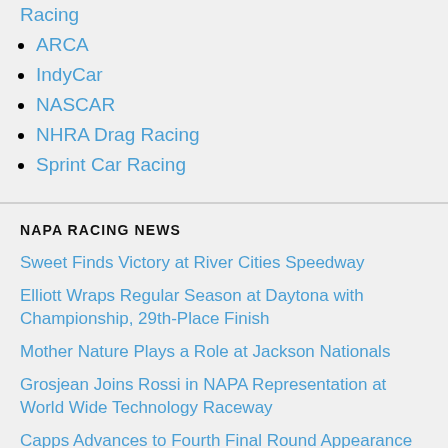Racing
ARCA
IndyCar
NASCAR
NHRA Drag Racing
Sprint Car Racing
NAPA RACING NEWS
Sweet Finds Victory at River Cities Speedway
Elliott Wraps Regular Season at Daytona with Championship, 29th-Place Finish
Mother Nature Plays a Role at Jackson Nationals
Grosjean Joins Rossi in NAPA Representation at World Wide Technology Raceway
Capps Advances to Fourth Final Round Appearance in